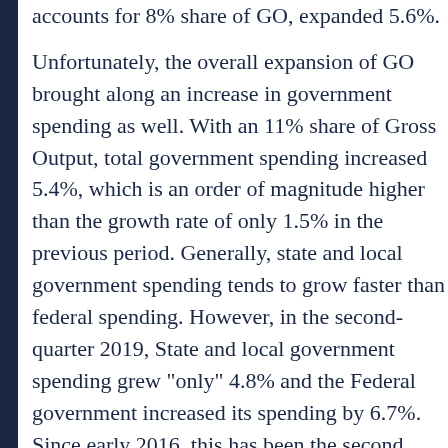accounts for 8% share of GO, expanded 5.6%.
Unfortunately, the overall expansion of GO brought along an increase in government spending as well. With an 11% share of Gross Output, total government spending increased 5.4%, which is an order of magnitude higher than the growth rate of only 1.5% in the previous period. Generally, state and local government spending tends to grow faster than federal spending. However, in the second-quarter 2019, State and local government spending grew "only" 4.8% and the Federal government increased its spending by 6.7%. Since early 2016, this has been the second period in a row where federal government grew faster than state and local government spending.